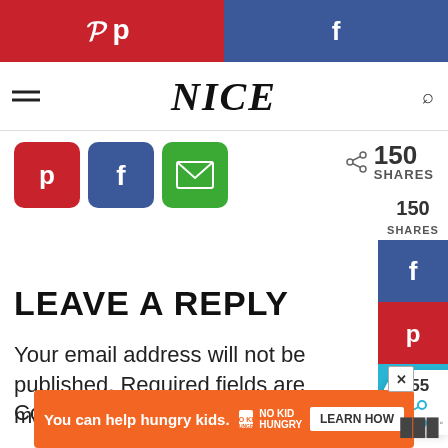[Figure (screenshot): Top social sharing bar with Pinterest (red) on left and Facebook (dark blue) on right]
NICE
[Figure (screenshot): Social share buttons: Pinterest (red), Facebook (blue), Email (green), and share count showing 150 SHARES]
[Figure (screenshot): Right sidebar sticky share buttons: 150 SHARES count, Facebook (blue), Pinterest (red), Heart/like (cyan blue)]
LEAVE A REPLY
Your email address will not be published. Required fields are marked
Comment *
[Figure (screenshot): Bottom floating share widget showing 155 and share icon]
[Figure (screenshot): Ad banner: You can help hungry kids. No Kid Hungry. LEARN HOW]